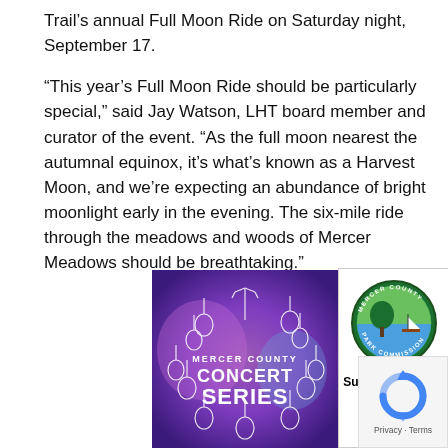Trail's annual Full Moon Ride on Saturday night, September 17.
“This year’s Full Moon Ride should be particularly special,” said Jay Watson, LHT board member and curator of the event. “As the full moon nearest the autumnal equinox, it’s what’s known as a Harvest Moon, and we’re expecting an abundance of bright moonlight early in the evening. The six-mile ride through the meadows and woods of Mercer Meadows should be breathtaking.”
[Figure (illustration): Mercer County Concert Series advertisement with purple/blue background and musical instrument decorative motif around the text]
[Figure (logo): Mercer County Park Commission circular logo with tree and water imagery]
Summer concerts each